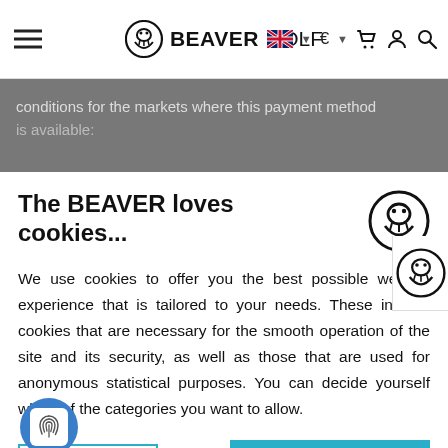[Figure (screenshot): Beaver Golf website navbar with hamburger menu, beaver logo, brand name BEAVER GOLF, UK flag, euro sign, cart, user, and search icons]
conditions for the markets where this payment method
The BEAVER loves cookies...
We use cookies to offer you the best possible website experience that is tailored to your needs. These include cookies that are necessary for the smooth operation of the site and its security, as well as those that are used for anonymous statistical purposes. You can decide yourself which of the categories you want to allow.
Edit Cookies
Accept all
here for the markets where this payment method is available: Austria , the United Kingdom , Germany , Sweden , Norway , Denmark and Finland .